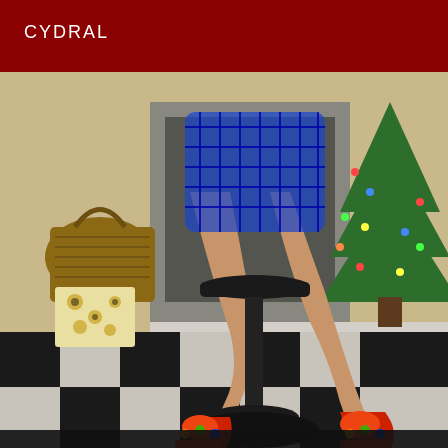CYDRAL
[Figure (photo): A person wearing a blue fishnet/checkered bodysuit sitting on a black bar stool on a black-and-white checkered floor. The person is wearing colorful high-heeled sandals. In the background there is a fireplace, a wicker basket, a leopard-print shopping bag, and a decorated Christmas tree on the right side.]